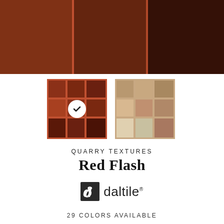[Figure (photo): Close-up of terracotta/red quarry tiles with reddish-brown grout lines arranged in a grid pattern, showing three columns of tiles]
[Figure (photo): Two tile swatch samples side by side: left swatch shows red/brown quarry tiles in a 3x3 grid with a white checkmark circle overlay indicating selection; right swatch shows beige/tan tiles in a 3x3 grid]
QUARRY TEXTURES
Red Flash
[Figure (logo): Daltile logo: stylized 'd' icon in dark square followed by 'daltile' text with registered trademark symbol]
29 COLORS AVAILABLE